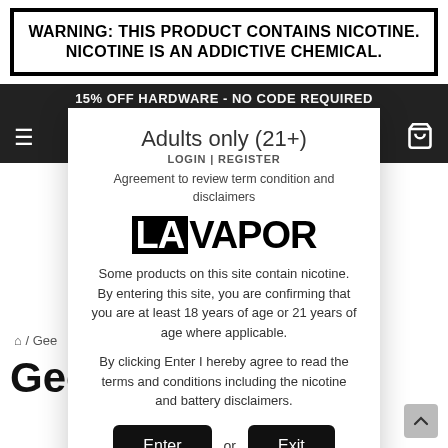WARNING: THIS PRODUCT CONTAINS NICOTINE. NICOTINE IS AN ADDICTIVE CHEMICAL.
15% OFF HARDWARE - NO CODE REQUIRED
Adults only (21+)
LOGIN | REGISTER
Agreement to review term condition and disclaimers
LAVAPOR
Some products on this site contain nicotine. By entering this site, you are confirming that you are at least 18 years of age or 21 years of age where applicable.
By clicking Enter I hereby agree to read the terms and conditions including the nicotine and battery disclaimers.
Enter or Exit
# / Gee
Gee